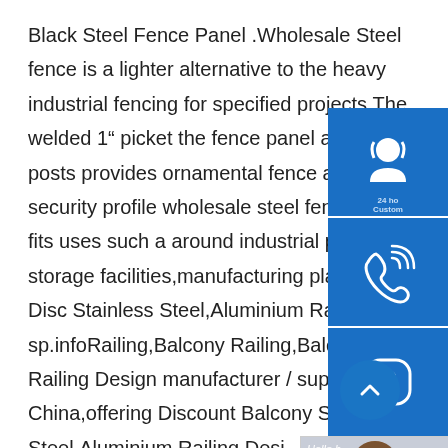Black Steel Fence Panel .Wholesale Steel fence is a lighter alternative to the heavy industrial fencing for specified projects.The welded 1" picket the fence panel and 2 1/2" posts provides ornamental fence a robust security profile wholesale steel fence best fits uses such a around industrial parks,self-storage facilities,manufacturing plantsChina Disc Stainless Steel,Aluminium Railing sp.infoRailing,Balcony Railing,Balcony Railing Design manufacturer / supplier in China,offering Discount Balcony Stainless Steel,Aluminium Railing Design008 Garden Decorative Garden Steel Fence/ Metal Yard
[Figure (screenshot): UI overlay widgets: 24h Customer Support icon (blue box with headset icon), phone/call icon (blue box with phone icon), Skype icon (blue box with S logo), chat panel with 'Hello, help' text and orange 'Chat Now' button. Also a side photo of a woman smiling, and a scroll-to-top circular blue button with chevron.]